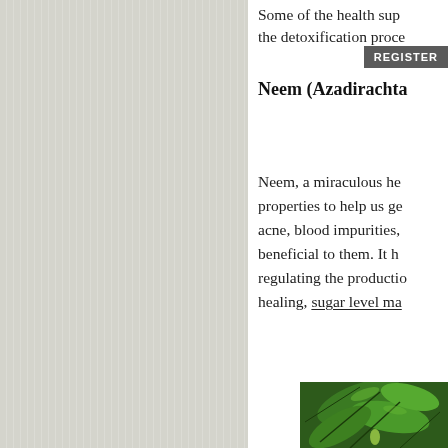[Figure (illustration): Left panel with light grey striped/textured sidebar background]
Some of the health sup... the detoxification proce...
[Figure (other): REGISTER button overlay in dark grey]
Neem (Azadirachta...
Neem, a miraculous he... properties to help us ge... acne, blood impurities,... beneficial to them. It h... regulating the productio... healing, sugar level ma...
[Figure (photo): Close-up photograph of neem plant leaves and branches, deep green color]